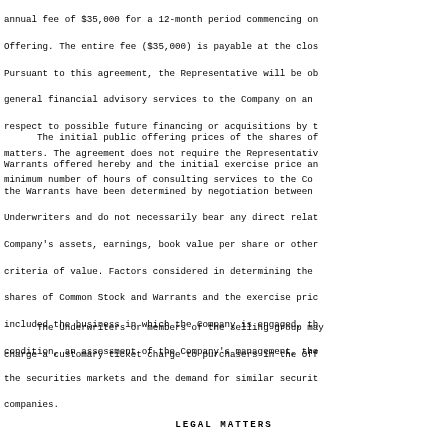The Company has agreed to retain the Representative annual fee of $35,000 for a 12-month period commencing on the Offering. The entire fee ($35,000) is payable at the closing. Pursuant to this agreement, the Representative will be obligated to provide general financial advisory services to the Company on an ongoing basis with respect to possible future financing or acquisitions by the Company and other matters. The agreement does not require the Representative to devote a minimum number of hours of consulting services to the Company.
The initial public offering prices of the shares of Common Stock and Warrants offered hereby and the initial exercise price and other terms of the Warrants have been determined by negotiation between the Company and the Underwriters and do not necessarily bear any direct relationship to the Company's assets, earnings, book value per share or other established criteria of value. Factors considered in determining the offering prices of the shares of Common Stock and Warrants and the exercise price of the Warrants included the business in which the Company is engaged, the Company's financial condition, an assessment of the Company's management, the general condition of the securities markets and the demand for similar securities of comparable companies.
The Underwriters or members of the selling group may, in their discretion, charge a customary ticket charge to purchasers in the Offering.
LEGAL MATTERS